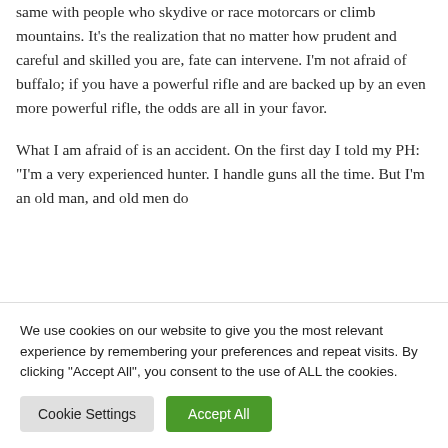same with people who skydive or race motorcars or climb mountains. It's the realization that no matter how prudent and careful and skilled you are, fate can intervene. I'm not afraid of buffalo; if you have a powerful rifle and are backed up by an even more powerful rifle, the odds are all in your favor.
What I am afraid of is an accident. On the first day I told my PH: "I'm a very experienced hunter. I handle guns all the time. But I'm an old man, and old men do...
We use cookies on our website to give you the most relevant experience by remembering your preferences and repeat visits. By clicking "Accept All", you consent to the use of ALL the cookies.